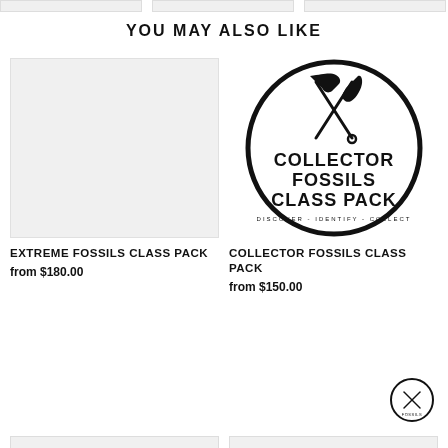YOU MAY ALSO LIKE
[Figure (photo): Light gray placeholder product image for Extreme Fossils Class Pack]
EXTREME FOSSILS CLASS PACK
from $180.00
[Figure (logo): Collector Fossils Class Pack circular logo with crossed pickaxe and shovel tools, text: COLLECTOR FOSSILS CLASS PACK, DISCOVER - IDENTIFY - COLLECT]
COLLECTOR FOSSILS CLASS PACK
from $150.00
[Figure (logo): Small circular badge with crossed tools logo in bottom-right corner]